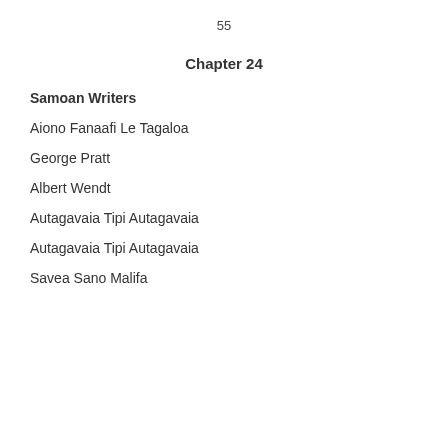55
Chapter 24
Samoan Writers
Aiono Fanaafi Le Tagaloa
George Pratt
Albert Wendt
Autagavaia Tipi Autagavaia
Autagavaia Tipi Autagavaia
Savea Sano Malifa